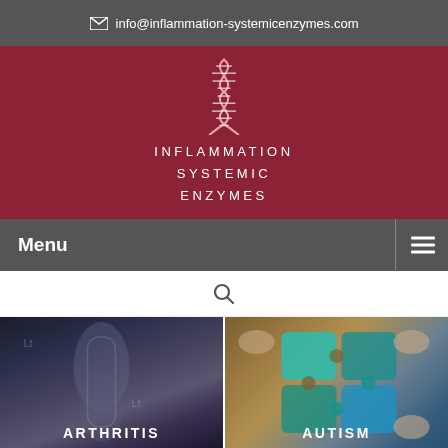info@inflammation-systemicenzymes.com
[Figure (logo): Inflammation Systemic Enzymes logo with DNA helix icon and text INFLAMMATION SYSTEMIC ENZYMES]
Menu
[Figure (other): Search icon (magnifying glass)]
[Figure (photo): Two medical card panels: left shows an X-ray image labeled ARTHRITIS, right shows colorful puzzle pieces labeled AUTISM]